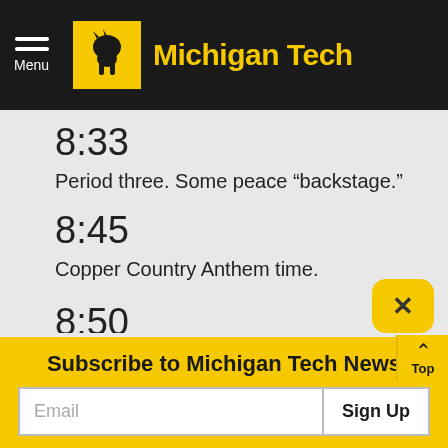Menu | Michigan Tech
8:33
Period three. Some peace “backstage.”
8:45
Copper Country Anthem time.
8:50
Celebrate the Huskies’ fourth goal from Su…orth.
Subscribe to Michigan Tech News
Email
Sign Up